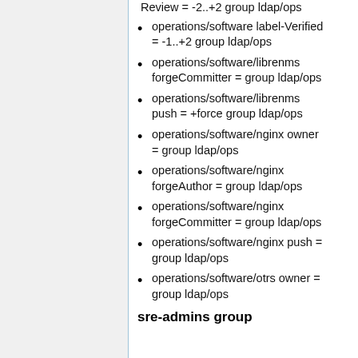Review = -2..+2 group ldap/ops
operations/software label-Verified = -1..+2 group ldap/ops
operations/software/librenms forgeCommitter = group ldap/ops
operations/software/librenms push = +force group ldap/ops
operations/software/nginx owner = group ldap/ops
operations/software/nginx forgeAuthor = group ldap/ops
operations/software/nginx forgeCommitter = group ldap/ops
operations/software/nginx push = group ldap/ops
operations/software/otrs owner = group ldap/ops
sre-admins group